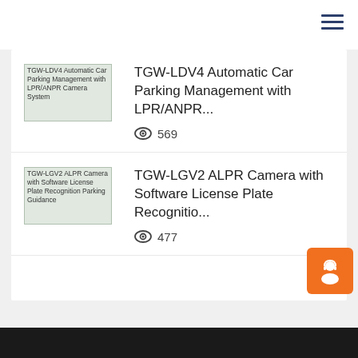[Figure (screenshot): Navigation bar with hamburger menu icon (three horizontal lines) on the right side]
TGW-LDV4 Automatic Car Parking Management with LPR/ANPR...
👁 569
TGW-LGV2 ALPR Camera with Software License Plate Recognitio...
👁 477